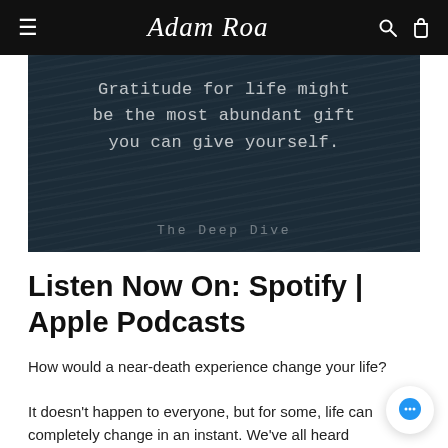Adam Roa — navigation bar with hamburger menu, logo, search and bag icons
[Figure (photo): Dark moody water background image with white typewriter-font text reading: 'Gratitude for life might be the most abundant gift you can give yourself.' and subtitle 'The Deep Dive' at the bottom.]
Listen Now On: Spotify | Apple Podcasts
How would a near-death experience change your life?
It doesn't happen to everyone, but for some, life can completely change in an instant. We've all heard stories of people who've had near-death